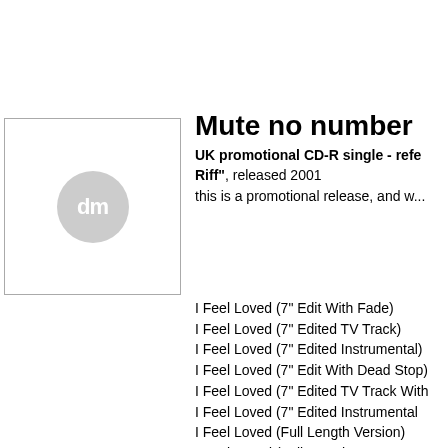[Figure (illustration): Album art placeholder with 'dm' initials in a grey circle, inside a square border]
Mute no number
UK promotional CD-R single - refe... Riff", released 2001
this is a promotional release, and w...
I Feel Loved (7" Edit With Fade)
I Feel Loved (7" Edited TV Track)
I Feel Loved (7" Edited Instrumental)
I Feel Loved (7" Edit With Dead Stop)
I Feel Loved (7" Edited TV Track With...
I Feel Loved (7" Edited Instrumental...
I Feel Loved (Full Length Version)
I Feel Loved (Full Length Instrumental...
I Feel Loved (Full Length TV Track)
I Feel Loved (Full Length With Keys U...
I Feel Loved (Full Length With Keys D...